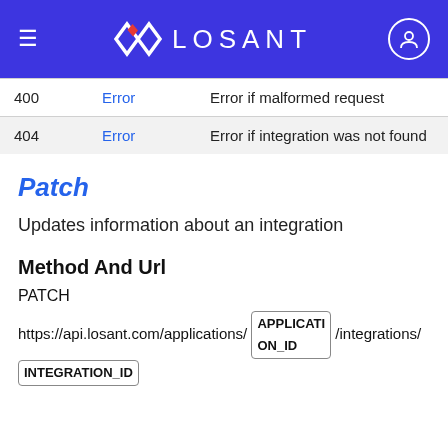≡  LOSANT  [avatar]
| 400 | Error | Error if malformed request |
| 404 | Error | Error if integration was not found |
Patch
Updates information about an integration
Method And Url
PATCH
https://api.losant.com/applications/ APPLICATION_ID /integrations/ INTEGRATION_ID